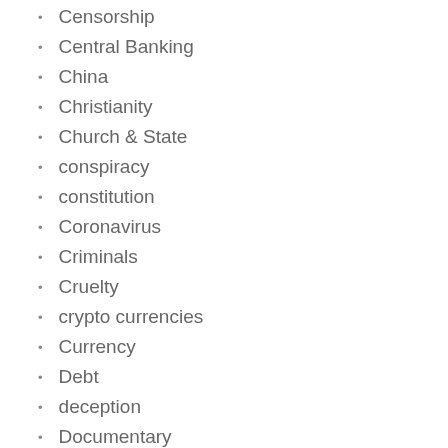Censorship
Central Banking
China
Christianity
Church & State
conspiracy
constitution
Coronavirus
Criminals
Cruelty
crypto currencies
Currency
Debt
deception
Documentary
drugs
Economics